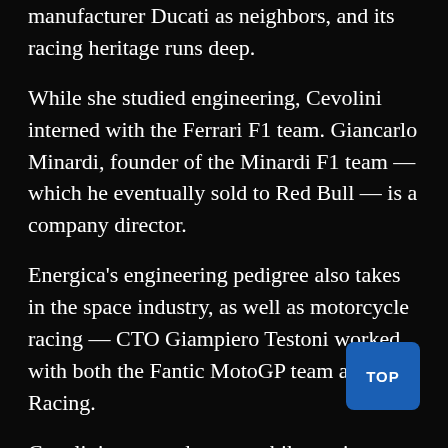manufacturer Ducati as neighbors, and its racing heritage runs deep.
While she studied engineering, Cevolini interned with the Ferrari F1 team. Giancarlo Minardi, founder of the Minardi F1 team — which he eventually sold to Red Bull — is a company director.
Energica's engineering pedigree also takes in the space industry, as well as motorcycle racing — CTO Giampiero Testoni worked with both the Fantic MotoGP team and CRP Racing.
Cevolini accepts that some bike purists may remain reluctant to accept MotoE, but sees it as a natural progression for racing.
“Electric bike racing has to face the obstacles any change in racing brought in terms of acceptance